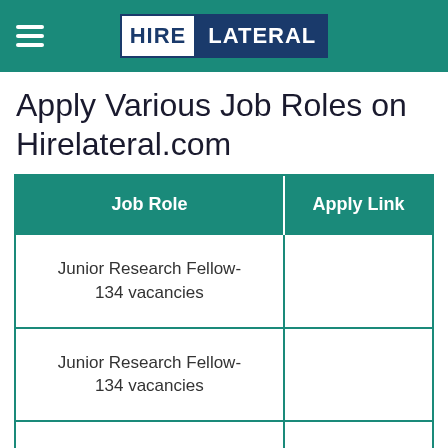HIRE LATERAL
Apply Various Job Roles on Hirelateral.com
| Job Role | Apply Link |
| --- | --- |
| Junior Research Fellow- 134 vacancies |  |
| Junior Research Fellow- 134 vacancies |  |
| Programmer- 14 vacancies |  |